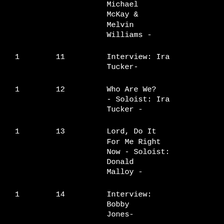| Disc | Track | Title |
| --- | --- | --- |
|  |  | Michael McKay & Melvin Williams - |
| 1 | 11 | Interview: Ira Tucker- |
| 1 | 12 | Who Are We? - Soloist: Ira Tucker - |
| 1 | 13 | Lord, Do It For Me Right Now - Soloist: Donald Malloy - |
| 1 | 14 | Interview: Bobby Jones- |
| 2 | 17 | Leave You In |